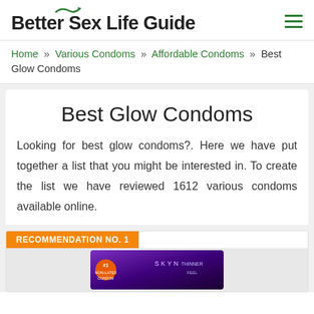Better Sex Life Guide
Home » Various Condoms » Affordable Condoms » Best Glow Condoms
Best Glow Condoms
Looking for best glow condoms?. Here we have put together a list that you might be interested in. To create the list we have reviewed 1612 various condoms available online.
RECOMMENDATION NO. 1
[Figure (photo): Product image of a condom box, purple and dark packaging]